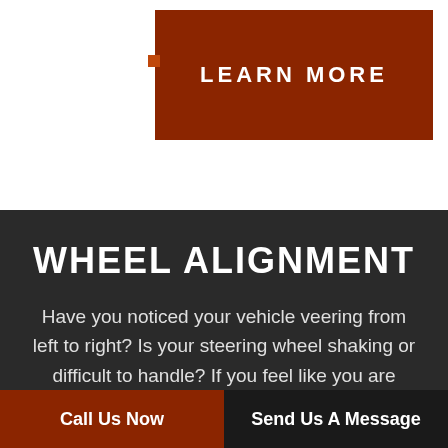LEARN MORE
WHEEL ALIGNMENT
Have you noticed your vehicle veering from left to right? Is your steering wheel shaking or difficult to handle? If you feel like you are losing control of your vehicle, it may be due to wheel misalignment. While this issue is quite common, it can lead to increased fuel
Call Us Now    Send Us A Message